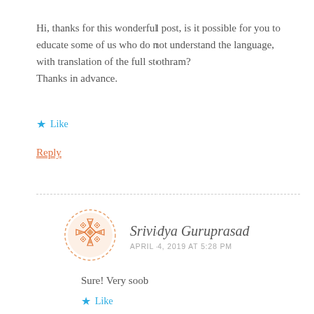Hi, thanks for this wonderful post, is it possible for you to educate some of us who do not understand the language, with translation of the full stothram?
Thanks in advance.
★ Like
Reply
[Figure (illustration): Orange decorative mandala/geometric pattern avatar in a dashed circle border]
Srividya Guruprasad
APRIL 4, 2019 AT 5:28 PM
Sure! Very soob
★ Like